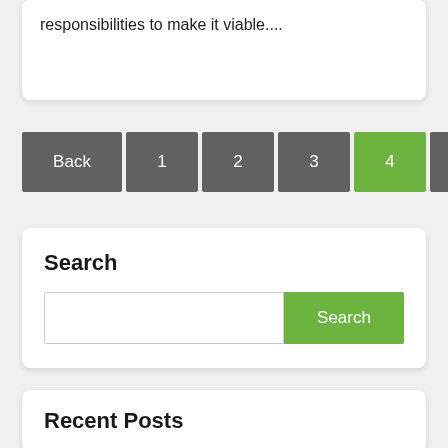responsibilities to make it viable....
[Figure (other): Pagination navigation bar with buttons: Back, 1, 2, 3, 4 (active/green), 5, Next]
Search
[Figure (other): Search input field with a green Search button]
Recent Posts